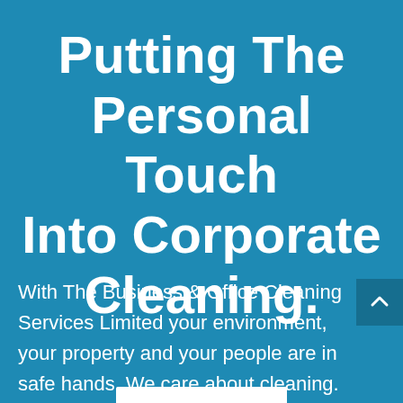Putting The Personal Touch Into Corporate Cleaning.
With The Business & Office Cleaning Services Limited your environment, your property and your people are in safe hands. We care about cleaning.